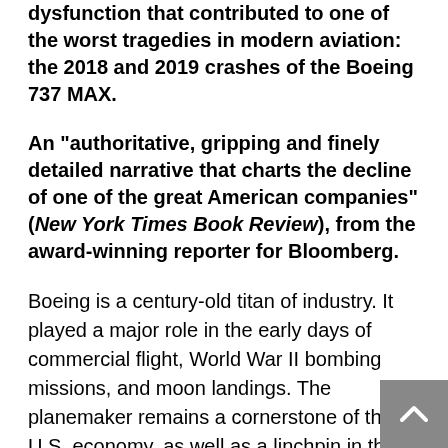dysfunction that contributed to one of the worst tragedies in modern aviation: the 2018 and 2019 crashes of the Boeing 737 MAX.
An "authoritative, gripping and finely detailed narrative that charts the decline of one of the great American companies" (New York Times Book Review), from the award-winning reporter for Bloomberg.
Boeing is a century-old titan of industry. It played a major role in the early days of commercial flight, World War II bombing missions, and moon landings. The planemaker remains a cornerstone of the U.S. economy, as well as a linchpin in the awesome routine of modern air travel. But in 2018 and 2019